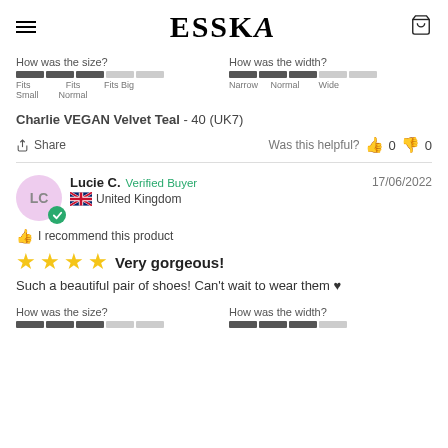ESSKA
How was the size? [bars] Fits Small / Fits Normal / Fits Big | How was the width? [bars] Narrow / Normal / Wide
Charlie VEGAN Velvet Teal - 40 (UK7)
Share | Was this helpful? 0 thumbs up 0 thumbs down
Lucie C. Verified Buyer | United Kingdom | 17/06/2022
I recommend this product
★★★★ Very gorgeous!
Such a beautiful pair of shoes! Can't wait to wear them ♥
How was the size? [bars] | How was the width? [bars]